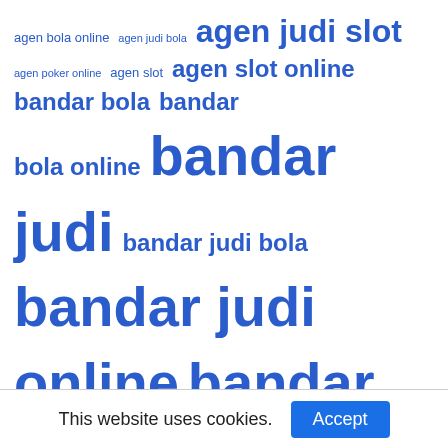[Figure (infographic): Tag cloud of gambling/gaming related Indonesian/English keywords in various font sizes, all in blue. Terms include: agen bola online, agen judi bola, agen judi slot, agen poker online, agen slot, agen slot online, bandar bola, bandar bola online, bandar judi, bandar judi bola, bandar judi online, bandar judi slot, bandar poker, bandar slot, bandar slot online, bola, bola online, jackpot poker, jackpot slot, joker88 slot, joker gaming, joker slot, judi, judi bola, judi bola online, judi online, judi poker, judi slot, judi slot online, mesin slot, mpo slot, online gambling, poker, poker online, sbobet, sbobet indonesia, situs joker slot, situs judi]
This website uses cookies. Accept